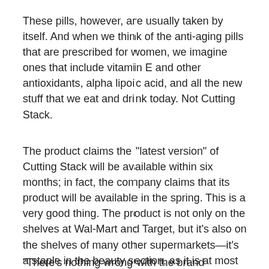These pills, however, are usually taken by itself. And when we think of the anti-aging pills that are prescribed for women, we imagine ones that include vitamin E and other antioxidants, alpha lipoic acid, and all the new stuff that we eat and drink today. Not Cutting Stack.
The product claims the "latest version" of Cutting Stack will be available within six months; in fact, the company claims that its product will be available in the spring. This is a very good thing. The product is not only on the shelves at Wal-Mart and Target, but it's also on the shelves of many other supermarkets—it's a staple in the beauty section, as it is at most drugstores. A Wal-Mart spokeswoman said, to her credit:
"There's nothing wrong with the brand